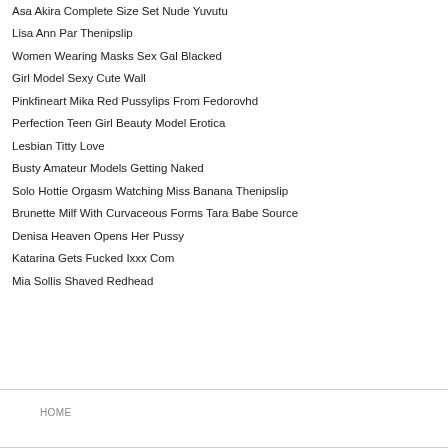Asa Akira Complete Size Set Nude Yuvutu
Lisa Ann Par Thenipslip
Women Wearing Masks Sex Gal Blacked
Girl Model Sexy Cute Wall
Pinkfineart Mika Red Pussylips From Fedorovhd
Perfection Teen Girl Beauty Model Erotica
Lesbian Titty Love
Busty Amateur Models Getting Naked
Solo Hottie Orgasm Watching Miss Banana Thenipslip
Brunette Milf With Curvaceous Forms Tara Babe Source
Denisa Heaven Opens Her Pussy
Katarina Gets Fucked Ixxx Com
Mia Sollis Shaved Redhead
HOME